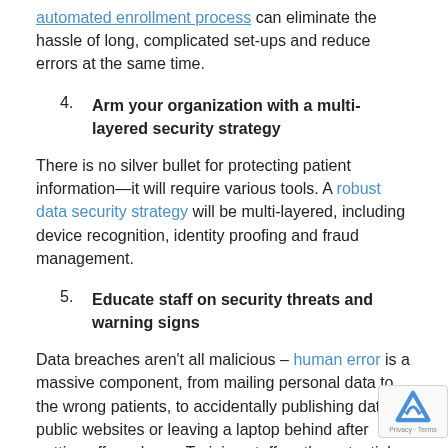automated enrollment process can eliminate the hassle of long, complicated set-ups and reduce errors at the same time.
4. Arm your organization with a multi-layered security strategy
There is no silver bullet for protecting patient information—it will require various tools. A robust data security strategy will be multi-layered, including device recognition, identity proofing and fraud management.
5. Educate staff on security threats and warning signs
Data breaches aren't all malicious – human error is a massive component, from mailing personal data to the wrong patients, to accidentally publishing data on public websites or leaving a laptop behind after getting off a subway. Training staff on the potential pitfalls will help them help you in protecting confidential patient